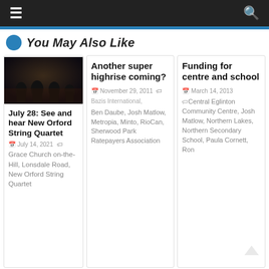Navigation bar with menu and search icons
You May Also Like
[Figure (photo): Black and white photo of musicians, likely the New Orford String Quartet, seated in a dark setting]
July 28: See and hear New Orford String Quartet
July 14, 2021  Grace Church on-the-Hill, Lonsdale Road, New Orford String Quartet
Another super highrise coming?
November 29, 2011  Bazis International, Ben Daube, Josh Matlow, Metropia, Minto, RioCan, Sherwood Park Ratepayers Association
Funding for centre and school
March 14, 2013  Central Eglinton Community Centre, Josh Matlow, Northern Lakes, Northern Secondary School, Paula Cornett, Ron